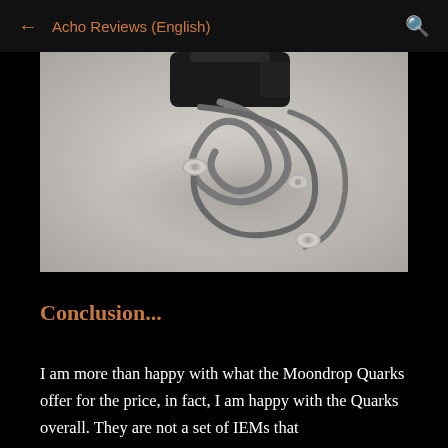← Acho Reviews (English) 🔍
[Figure (photo): Overhead photo of Moondrop Quarks IEM earphones with cable coiled on a light grey surface, showing earphone tips and cable connections]
Conclusion...
I am more than happy with what the Moondrop Quarks offer for the price, in fact, I am happy with the Quarks overall. They are not a set of IEMs that